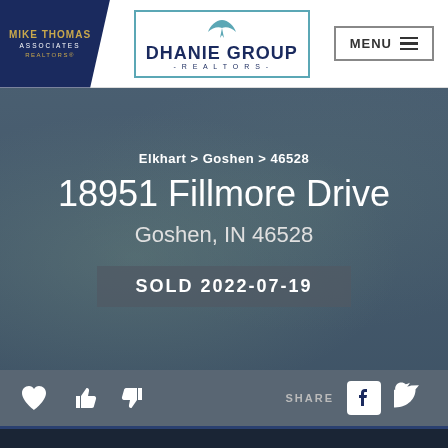[Figure (logo): Mike Thomas Associates Realtors logo - dark blue background with gold and white text]
[Figure (logo): Dhanie Group Realtors logo - bird icon above text in teal border box]
MENU
Elkhart > Goshen > 46528
18951 Fillmore Drive
Goshen, IN 46528
SOLD 2022-07-19
SHARE